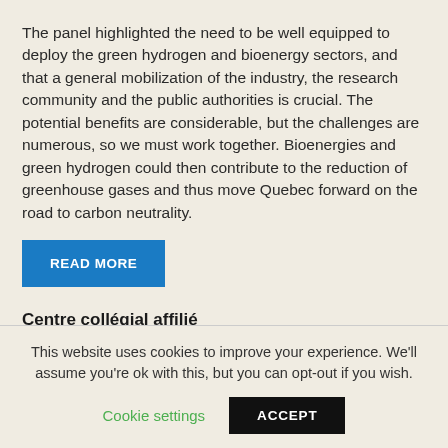The panel highlighted the need to be well equipped to deploy the green hydrogen and bioenergy sectors, and that a general mobilization of the industry, the research community and the public authorities is crucial. The potential benefits are considerable, but the challenges are numerous, so we must work together. Bioenergies and green hydrogen could then contribute to the reduction of greenhouse gases and thus move Quebec forward on the road to carbon neutrality.
READ MORE
Centre collégial affilié
This website uses cookies to improve your experience. We'll assume you're ok with this, but you can opt-out if you wish.
Cookie settings
ACCEPT